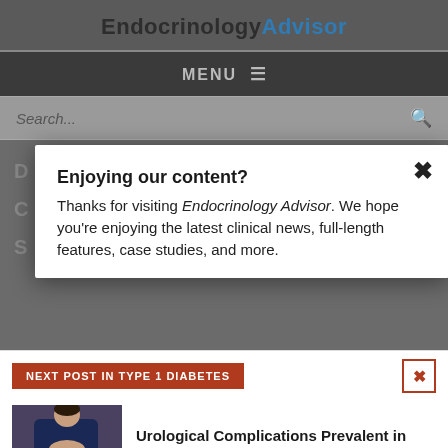EndocrinologyAdvisor
MENU ☰
Search...
Enjoying our content?
Thanks for visiting Endocrinology Advisor. We hope you're enjoying the latest clinical news, full-length features, case studies, and more.
NEXT POST IN TYPE 1 DIABETES
[Figure (photo): Person holding their midsection, wearing dark jeans and navy top — illustrating urological complications]
Urological Complications Prevalent in Men and Women With Type 1 Diabetes
LOGIN   REGISTER